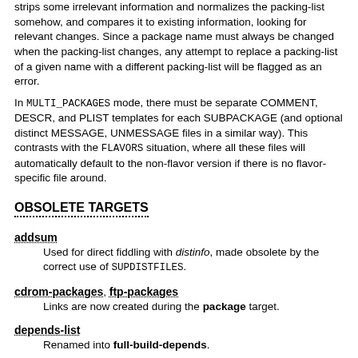strips some irrelevant information and normalizes the packing-list somehow, and compares it to existing information, looking for relevant changes. Since a package name must always be changed when the packing-list changes, any attempt to replace a packing-list of a given name with a different packing-list will be flagged as an error.
In MULTI_PACKAGES mode, there must be separate COMMENT, DESCR, and PLIST templates for each SUBPACKAGE (and optional distinct MESSAGE, UNMESSAGE files in a similar way). This contrasts with the FLAVORS situation, where all these files will automatically default to the non-flavor version if there is no flavor-specific file around.
OBSOLETE TARGETS
addsum
Used for direct fiddling with distinfo, made obsolete by the correct use of SUPDISTFILES.
cdrom-packages, ftp-packages
Links are now created during the package target.
depends-list
Renamed into full-build-depends.
describe